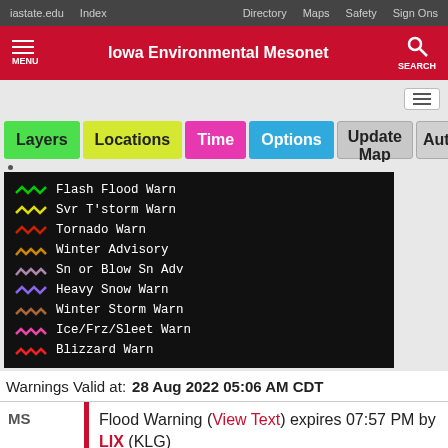iastate.edu  Index  Directory  Maps  Safety  Sign Ons
Iowa Environmental Mesonet
[Figure (screenshot): Navigation toolbar with Layers, Locations, Time, Options, Update Map, Auto buttons]
[Figure (infographic): Weather warning legend showing: Flash Flood Warn, Svr T'storm Warn, Tornado Warn, Winter Advisory, Sn or Blow Sn Adv, Heavy Snow Warn, Winter Storm Warn, Ice/Frz/Sleet Warn, Blizzard Warn with colored squiggly line icons]
Warnings Valid at: 28 Aug 2022 05:06 AM CDT
MS  Flood Warning (View Text) expires 07:57 PM by LIX (KLG) Jackson in MS